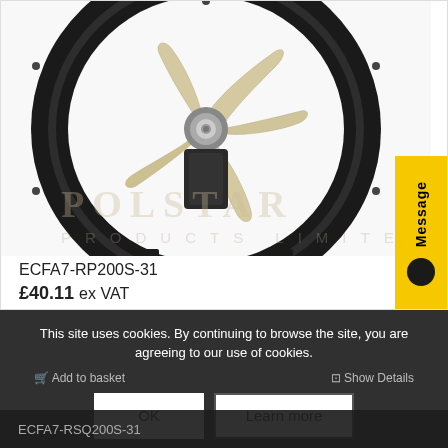[Figure (photo): Industrial axial fan/fan motor with a large black circular housing ring and beige/cream colored 5-blade impeller with central mounting hub, against white background. Watermark text POLSTAR PRODUCTS LIMITED visible.]
ECFA7-RP200S-31
£40.11 ex VAT
This site uses cookies. By continuing to browse the site, you are agreeing to our use of cookies.
Add to basket
Show Details
OK
Learn more
ECFA7-RSQ200S-31